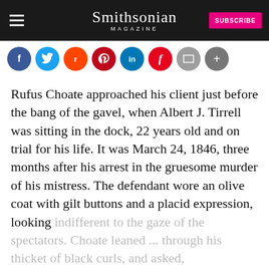Smithsonian MAGAZINE
[Figure (infographic): Social media sharing icons: Facebook (blue), Twitter (light blue), Reddit (orange), Pinterest (red), LinkedIn (blue), Flipboard (red), Email (grey), More (dark grey)]
Rufus Choate approached his client just before the bang of the gavel, when Albert J. Tirrell was sitting in the dock, 22 years old and on trial for his life. It was March 24, 1846, three months after his arrest in the gruesome murder of his mistress. The defendant wore an olive coat with gilt buttons and a placid expression, looking indifferent to the gaze of the spectators. Choate leaned ... through his thicket of black curls, and asked,